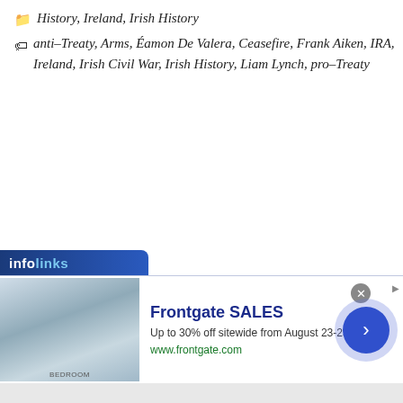History, Ireland, Irish History
anti-Treaty, Arms, Éamon De Valera, Ceasefire, Frank Aiken, IRA, Ireland, Irish Civil War, Irish History, Liam Lynch, pro-Treaty
[Figure (screenshot): Infolinks advertisement banner for Frontgate SALES showing bedroom image, text 'Up to 30% off sitewide from August 23-25', URL 'www.frontgate.com', with close button and arrow navigation.]